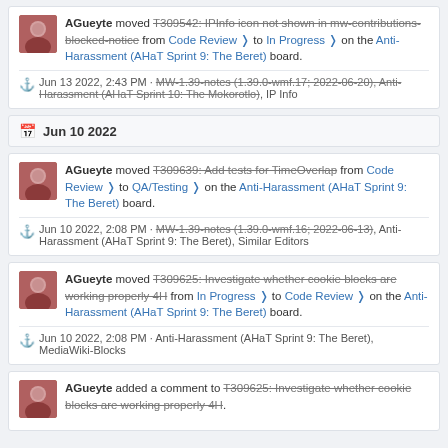AGueyte moved T309542: IPInfo icon not shown in mw-contributions-blocked-notice from Code Review ❭ to In Progress ❭ on the Anti-Harassment (AHaT Sprint 9: The Beret) board.
⚓ Jun 13 2022, 2:43 PM · MW-1.39-notes (1.39.0-wmf.17; 2022-06-20), Anti-Harassment (AHaT Sprint 10: The Mokorotlo), IP Info
Jun 10 2022
AGueyte moved T309639: Add tests for TimeOverlap from Code Review ❭ to QA/Testing ❭ on the Anti-Harassment (AHaT Sprint 9: The Beret) board.
⚓ Jun 10 2022, 2:08 PM · MW-1.39-notes (1.39.0-wmf.16; 2022-06-13), Anti-Harassment (AHaT Sprint 9: The Beret), Similar Editors
AGueyte moved T309625: Investigate whether cookie blocks are working properly 4H from In Progress ❭ to Code Review ❭ on the Anti-Harassment (AHaT Sprint 9: The Beret) board.
⚓ Jun 10 2022, 2:08 PM · Anti-Harassment (AHaT Sprint 9: The Beret), MediaWiki-Blocks
AGueyte added a comment to T309625: Investigate whether cookie blocks are working properly 4H.